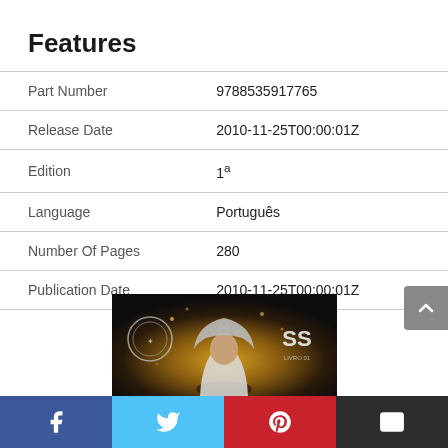Features
|  |  |
| --- | --- |
| Part Number | 9788535917765 |
| Release Date | 2010-11-25T00:00:01Z |
| Edition | 1ª |
| Language | Português |
| Number Of Pages | 280 |
| Publication Date | 2010-11-25T00:00:01Z |
[Figure (photo): Book cover image showing a hooded figure with logos]
[Figure (infographic): Social media share bar with Facebook, Twitter, Pinterest, and Email buttons]